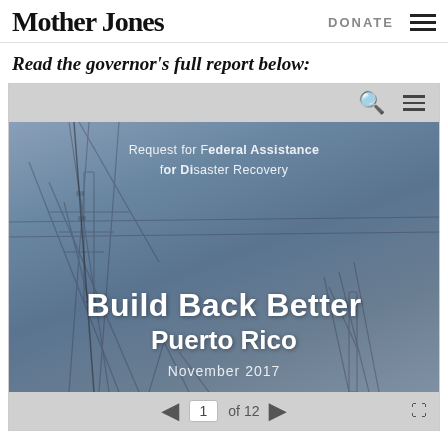Mother Jones | DONATE ☰
Read the governor's full report below:
[Figure (screenshot): Screenshot of an embedded document viewer showing the cover page of 'Build Back Better Puerto Rico - Request for Federal Assistance for Disaster Recovery, November 2017', with a background photo of damaged power lines and infrastructure, displayed inside a toolbar with search and menu icons, and pagination controls showing page 1 of 12.]